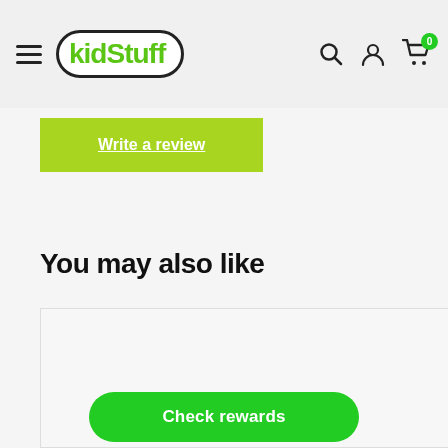kidStuff — navigation header with hamburger menu, logo, search, account, and cart icons (cart badge: 0)
Write a review
You may also like
Bobux | I Walk Twist Mist-Rainbow
Check rewards